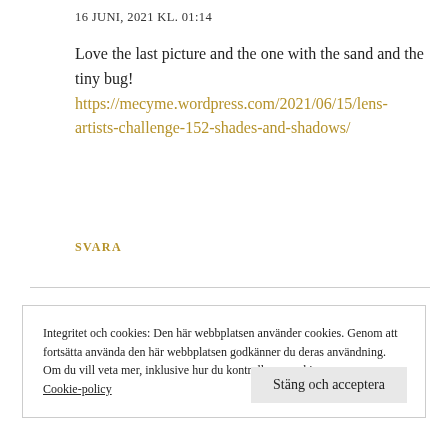16 JUNI, 2021 KL. 01:14
Love the last picture and the one with the sand and the tiny bug! https://mecyme.wordpress.com/2021/06/15/lens-artists-challenge-152-shades-and-shadows/
SVARA
Integritet och cookies: Den här webbplatsen använder cookies. Genom att fortsätta använda den här webbplatsen godkänner du deras användning.
Om du vill veta mer, inklusive hur du kontrollerar cookies, se: Cookie-policy
Stäng och acceptera